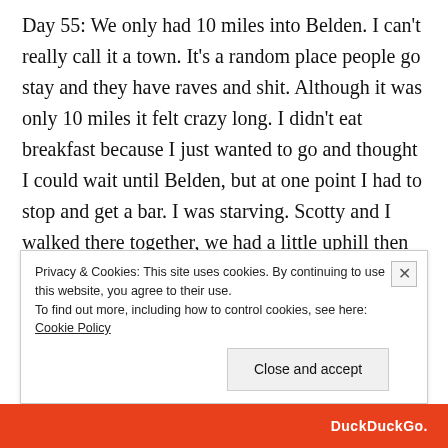Day 55: We only had 10 miles into Belden. I can't really call it a town. It's a random place people go stay and they have raves and shit. Although it was only 10 miles it felt crazy long. I didn't eat breakfast because I just wanted to go and thought I could wait until Belden, but at one point I had to stop and get a bar. I was starving. Scotty and I walked there together, we had a little uphill then found ourselves looking at beautiful massive rocks and tons of greenery. There was lightly flowing water coming down from the hillsides next to us. It was beautiful. Down into Belden was a looooong descent
Privacy & Cookies: This site uses cookies. By continuing to use this website, you agree to their use.
To find out more, including how to control cookies, see here: Cookie Policy
Close and accept
DuckDuckGo.